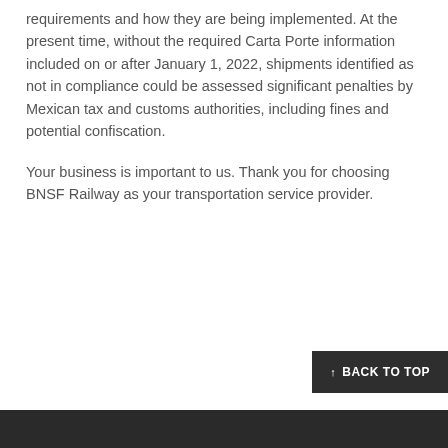requirements and how they are being implemented. At the present time, without the required Carta Porte information included on or after January 1, 2022, shipments identified as not in compliance could be assessed significant penalties by Mexican tax and customs authorities, including fines and potential confiscation.
Your business is important to us. Thank you for choosing BNSF Railway as your transportation service provider.
BACK TO TOP